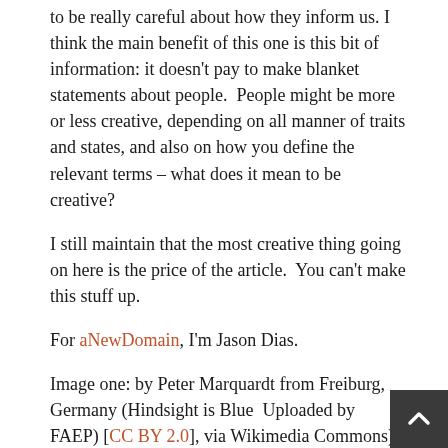to be really careful about how they inform us. I think the main benefit of this one is this bit of information: it doesn't pay to make blanket statements about people. People might be more or less creative, depending on all manner of traits and states, and also on how you define the relevant terms – what does it mean to be creative?
I still maintain that the most creative thing going on here is the price of the article. You can't make this stuff up.
For aNewDomain, I'm Jason Dias.
Image one: by Peter Marquardt from Freiburg, Germany (Hindsight is Blue Uploaded by FAEP) [CC BY 2.0], via Wikimedia Commons); image two: "Disease Gene Mapping with Multiple Chromosomes" by Esherma1 – Own work. Licensed under CC BY-SA 3.0 via Wikimedia Commons; image three: "Autismbrain" by National Institutes of Mental Health, National Institutes of Health. Originally this was taken from Major Brain Structures Implicated in Autism, but that resource no longer exists. An inf copy of it, in GIF form, is in Major Brain Structures Implicated